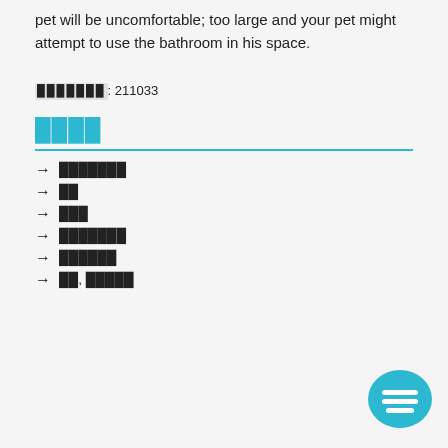pet will be uncomfortable; too large and your pet might attempt to use the bathroom in his space.
: 211033
████
→ ███████
→ ██
→ ███
→ ███████
→ ██████
→ ██, █████